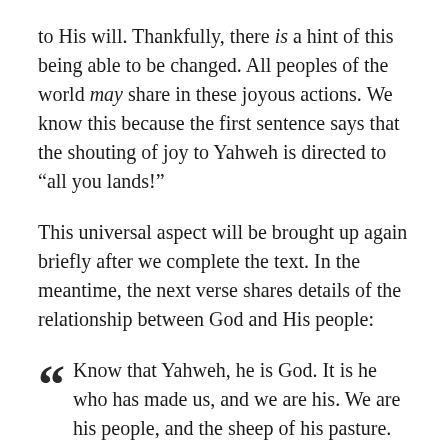to His will. Thankfully, there is a hint of this being able to be changed. All peoples of the world may share in these joyous actions. We know this because the first sentence says that the shouting of joy to Yahweh is directed to “all you lands!”
This universal aspect will be brought up again briefly after we complete the text. In the meantime, the next verse shares details of the relationship between God and His people:
“Know that Yahweh, he is God. It is he who has made us, and we are his. We are his people, and the sheep of his pasture.